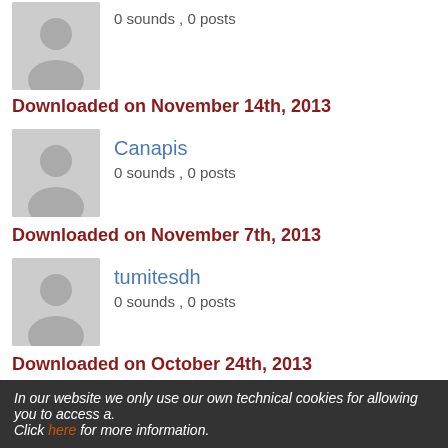0 sounds , 0 posts
Downloaded on November 14th, 2013
Canapis
0 sounds , 0 posts
Downloaded on November 7th, 2013
tumitesdh
0 sounds , 0 posts
Downloaded on October 24th, 2013
ABGB
0 sounds , 0 posts
Downloaded on September 30th, 2013
dbfla
0 sounds , 0 posts
Downloaded on September 9th, 2013
In our website we only use our own technical cookies for allowing you to access a. Click here for more information.